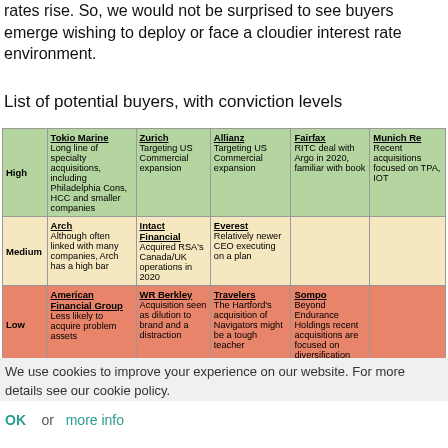rates rise. So, we would not be surprised to see buyers emerge wishing to deploy or face a cloudier interest rate environment.
List of potential buyers, with conviction levels
|  | Col1 | Col2 | Col3 | Col4 | Col5 |
| --- | --- | --- | --- | --- | --- |
| High | Tokio Marine
Long line of specialty acquisitions, including Philadelphia Cons, HCC and smaller companies | Zurich
Targeting US Commercial expansion | Allianz
Targeting US Commercial expansion | Fairfax
RITC deal with Argo in 2020, familiar with book | Munich Re
Recent acquisitions focused on TPA, IOT |
| Medium | Arch
Although often linked with many companies, Arch has a high bar | Intact Financial
Acquired RSA's Canada/UK operations in 2020 | Everest
Relatively newer CEO executing on a plan |  |  |
| Low | American Financial Group
Less likely to acquire problem assets | WR Berkley
Acquisition seen as dilution to brand and a distraction | Travelers
The Hartford's acquisition of Navigators might be a tough teacher | Sompo
Beyond Endurance Holdings recent acquisitions are focused on diversification |  |
We use cookies to improve your experience on our website. For more details see our cookie policy.
OK   or   more info